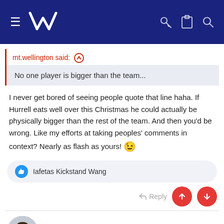NZ rugby forum header with hamburger menu, NZ logo, key, clipboard, and search icons
mt.wellington said: ↑
No one player is bigger than the team...
I never get bored of seeing people quote that line haha. If Hurrell eats well over this Christmas he could actually be physically bigger than the rest of the team. And then you'd be wrong. Like my efforts at taking peoples' comments in context? Nearly as flash as yours! 😉
Iafetas Kickstand Wang
Reply
slaughterhouse.sa